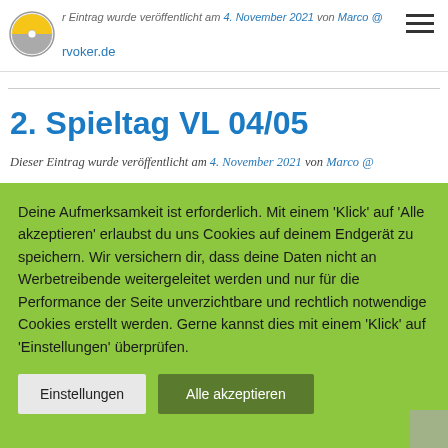r Eintrag wurde veröffentlicht am 4. November 2021 von Marco @ rvoker.de
2. Spieltag VL 04/05
Dieser Eintrag wurde veröffentlicht am 4. November 2021 von Marco @
Deine Aufmerksamkeit ist erforderlich. Mit einem 'Klick' auf 'Alle akzeptieren' erlaubst du uns Cookies auf deinem Endgerät zu speichern. Wir versichern dir, dass deine Daten nicht an Werbetreibende weitergeleitet werden und nur für die Performance der Seite unverzichtbare und rechtlich notwendige Cookies erstellt werden. Gerne kannst dies mit einem 'Klick' auf 'Einstellungen' überprüfen.